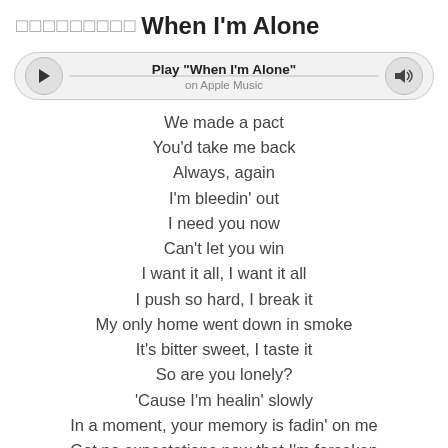□□□□□□□□□ When I'm Alone
[Figure (other): Apple Music player bar with play button, 'Play "When I'm Alone"' label, 'on Apple Music' subtitle, and volume icon]
We made a pact
You'd take me back
Always, again
I'm bleedin' out
I need you now
Can't let you win
I want it all, I want it all
I push so hard, I break it
My only home went down in smoke
It's bitter sweet, I taste it
So are you lonely?
'Cause I'm healin' slowly
In a moment, your memory is fadin' on me
Got no expectations now that I'm forsaken
Let's see what I'm made of
Find out if I can take it, now
When I'm Alone
But couldn't let it...